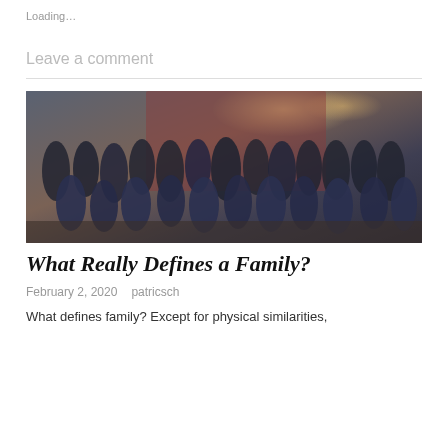Loading…
Leave a comment
[Figure (photo): Large group photo of a family at what appears to be a wedding or formal event, in a banquet hall with red walls and recessed lighting. Adults and children of various ages, dressed formally.]
What Really Defines a Family?
February 2, 2020   patricsch
What defines family? Except for physical similarities,